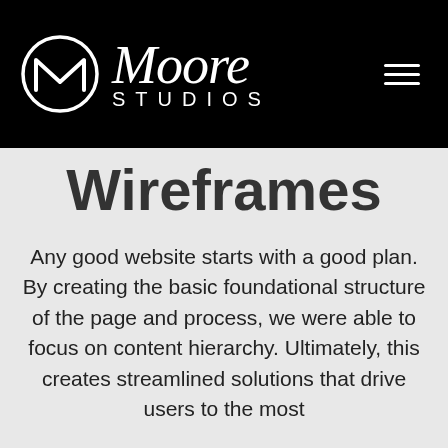[Figure (logo): Moore Studios logo on black header bar, featuring a circular M icon and stylized script 'Moore' with 'STUDIOS' below in spaced capitals, plus a hamburger menu icon on the right.]
Wireframes
Any good website starts with a good plan. By creating the basic foundational structure of the page and process, we were able to focus on content hierarchy. Ultimately, this creates streamlined solutions that drive users to the most